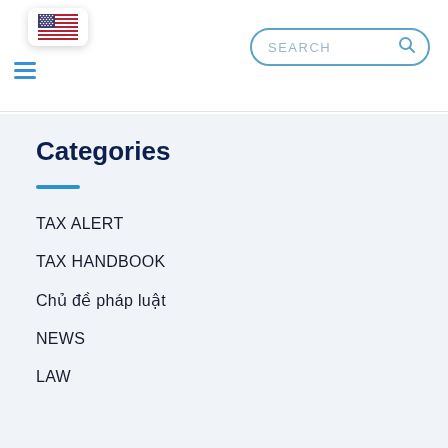[Figure (screenshot): Website header with hamburger menu icon, US flag button, and search bar with 'SEARCH' placeholder text]
Categories
TAX ALERT
TAX HANDBOOK
Chủ đề pháp luật
NEWS
LAW